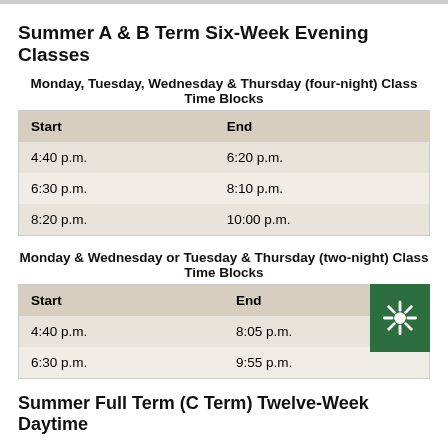Summer A & B Term Six-Week Evening Classes
Monday, Tuesday, Wednesday & Thursday (four-night) Class Time Blocks
| Start | End |
| --- | --- |
| 4:40 p.m. | 6:20 p.m. |
| 6:30 p.m. | 8:10 p.m. |
| 8:20 p.m. | 10:00 p.m. |
Monday & Wednesday or Tuesday & Thursday (two-night) Class Time Blocks
| Start | End |
| --- | --- |
| 4:40 p.m. | 8:05 p.m. |
| 6:30 p.m. | 9:55 p.m. |
Summer Full Term (C Term) Twelve-Week Daytime